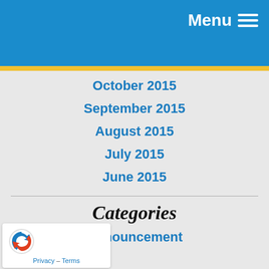Menu
October 2015
September 2015
August 2015
July 2015
June 2015
Categories
Announcement
Bathroom Plumbing
Commercial Plumbing
Community Involvement
Drain and Sewer